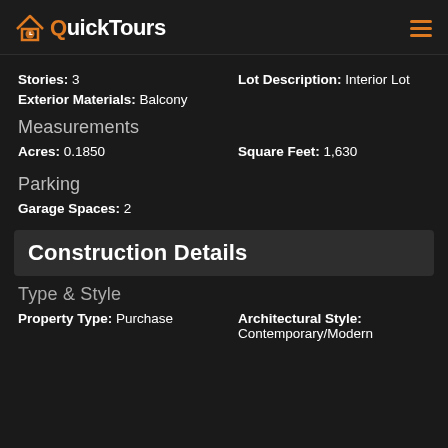QuickTours
Stories: 3
Lot Description: Interior Lot
Exterior Materials: Balcony
Measurements
Acres: 0.1850
Square Feet: 1,630
Parking
Garage Spaces: 2
Construction Details
Type & Style
Property Type: Purchase
Architectural Style: Contemporary/Modern